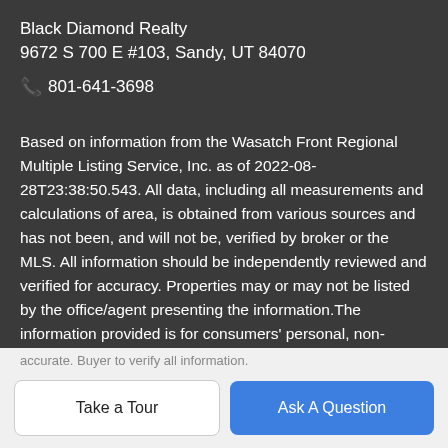Black Diamond Realty
9672 S 700 E #103, Sandy, UT 84070
📞 801-641-3698
Based on information from the Wasatch Front Regional Multiple Listing Service, Inc. as of 2022-08-28T23:38:50.543. All data, including all measurements and calculations of area, is obtained from various sources and has not been, and will not be, verified by broker or the MLS. All information should be independently reviewed and verified for accuracy. Properties may or may not be listed by the office/agent presenting the information.The information provided is for consumers' personal, non-commercial use and may not be used for any purpose other than to identify prospective properties consumers may be interested in purchasing. Information deemed reliable but not guaranteed
accurate. Buyer to verify all information.
Take a Tour
Ask A Question